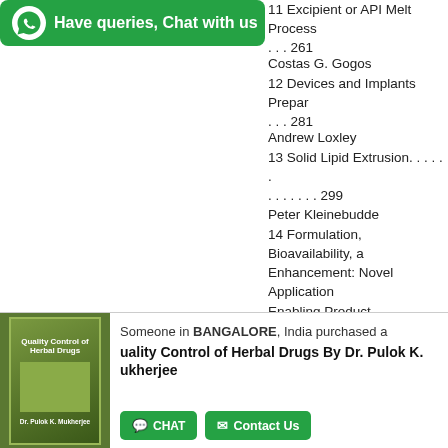[Figure (logo): WhatsApp chat banner with green background, WhatsApp logo icon, and text 'Have queries, Chat with us']
11 Excipient or API Melt Process. . . . 261
Costas G. Gogos
12 Devices and Implants Prepar. . . . 281
Andrew Loxley
13 Solid Lipid Extrusion. . . . . . . . . . . . . 299
Peter Kleinebudde
14 Formulation, Bioavailability, a Enhancement: Novel Application Enabling Product Development . . . . 329
Jay P. Lakshman
15 Hot Melt Extrusion as a Cont Manufacturing Process . . . . . . . . . . . . . . 363
Daniel Treffer, Patrick Wahl, Dan Eva Roblero and Johannes G. k
[Figure (infographic): Chat notification bar showing someone in BANGALORE, India purchased Quality Control of Herbal Drugs By Dr. Pulok K. Mukherjee, with book cover thumbnail, chat and contact us buttons]